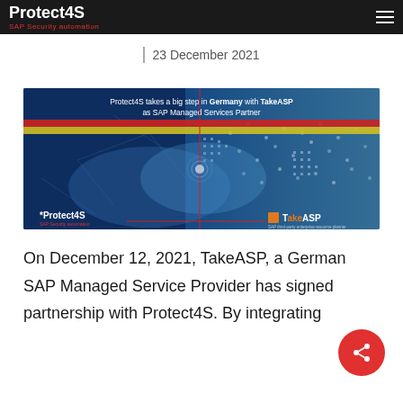Protect4S SAP Security automation
23 December 2021
[Figure (illustration): Partnership announcement banner showing handshake with technology overlay. Text reads: 'Protect4S takes a big step in Germany with TakeASP as SAP Managed Services Partner'. Bottom shows Protect4S and TakeASP logos with German flag color bands (red and yellow).]
On December 12, 2021, TakeASP, a German SAP Managed Service Provider has signed partnership with Protect4S. By integrating